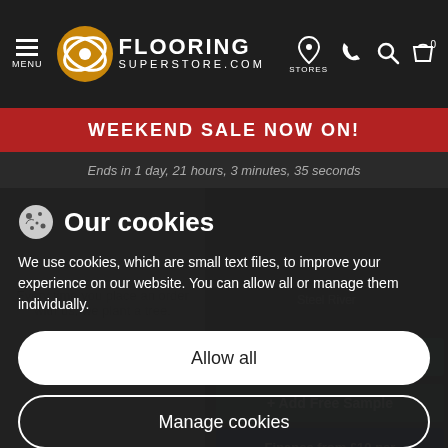[Figure (screenshot): Flooring Superstore website navigation bar with hamburger menu, logo, and icons for stores, phone, search, and cart]
WEEKEND SALE NOW ON!
Ends in 1 day, 21 hours, 3 minutes, 35 seconds
Our cookies
We use cookies, which are small text files, to improve your experience on our website. You can allow all or manage them individually.
Allow all
Manage cookies
Every time you place an order with us, we plant a tree.
Steel River
> View Product
+ Add Free Sample
Finance from £10 per